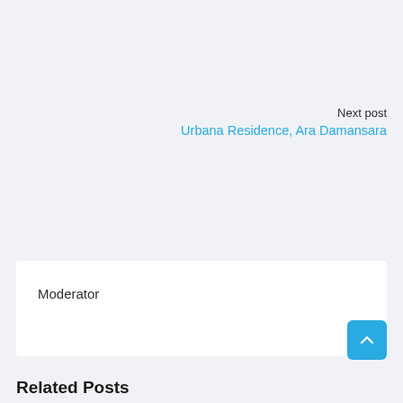Next post
Urbana Residence, Ara Damansara
Moderator
Related Posts